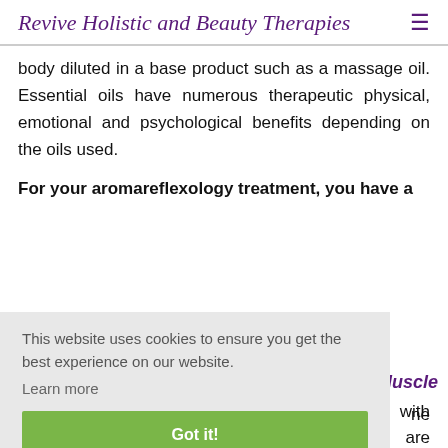Revive Holistic and Beauty Therapies ≡
body diluted in a base product such as a massage oil. Essential oils have numerous therapeutic physical, emotional and psychological benefits depending on the oils used.
For your aromareflexology treatment, you have a
This website uses cookies to ensure you get the best experience on our website. Learn more Got it!
Muscle
ne
are
You can also add on a Chakra rebalance with crystals